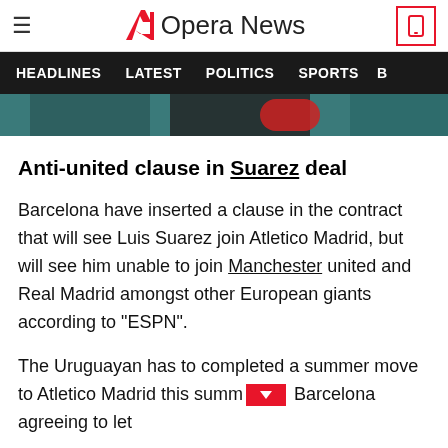Opera News
HEADLINES   LATEST   POLITICS   SPORTS
[Figure (photo): Partial article image strip showing blurred sports/soccer imagery]
Anti-united clause in Suarez deal
Barcelona have inserted a clause in the contract that will see Luis Suarez join Atletico Madrid, but will see him unable to join Manchester united and Real Madrid amongst other European giants according to "ESPN".
The Uruguayan has to completed a summer move to Atletico Madrid this summ [red chevron button] Barcelona agreeing to let